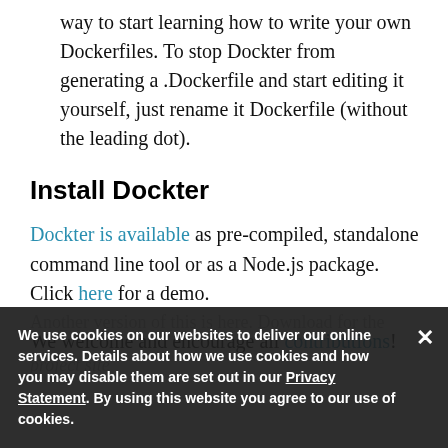way to start learning how to write your own Dockerfiles. To stop Dockter from generating a .Dockerfile and start editing it yourself, just rename it Dockerfile (without the leading dot).
Install Dockter
Dockter is available as pre-compiled, standalone command line tool or as a Node.js package. Click here for a demo.
We welcome and encourage all contributions!
We use cookies on our websites to deliver our online services. Details about how we use cookies and how you may disable them are set out in our Privacy Statement. By using this website you agree to our use of cookies.